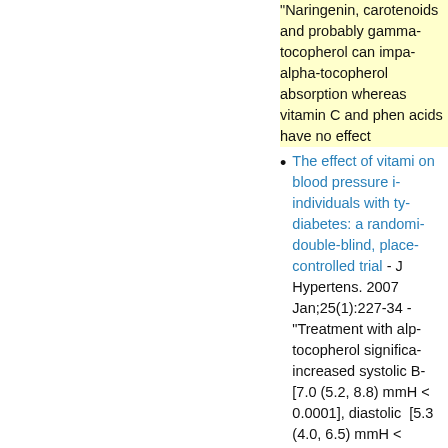"Naringenin, carotenoids and probably gamma-tocopherol can impair alpha-tocopherol absorption whereas vitamin C and phenolic acids have no effect
The effect of vitamin E on blood pressure in individuals with type 2 diabetes: a randomised, double-blind, placebo-controlled trial - J Hypertens. 2007 Jan;25(1):227-34 - "Treatment with alpha-tocopherol significantly increased systolic BP [7.0 (5.2, 8.8) mmHg, P < 0.0001], diastolic BP [5.3 (4.0, 6.5) mmHg, P < 0.0001], pulse pressure [1.8 (0.6, 3) mmHg, P < 0.005]